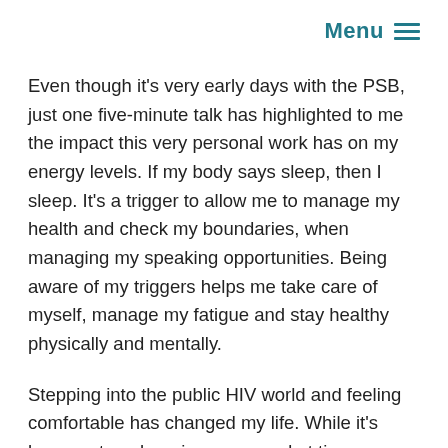Menu ≡
Even though it's very early days with the PSB, just one five-minute talk has highlighted to me the impact this very personal work has on my energy levels. If my body says sleep, then I sleep. It's a trigger to allow me to manage my health and check my boundaries, when managing my speaking opportunities. Being aware of my triggers helps me take care of myself, manage my fatigue and stay healthy physically and mentally.
Stepping into the public HIV world and feeling comfortable has changed my life. While it's been a steep learning curve and at times confronting, doors have been opened and I've met some incredible